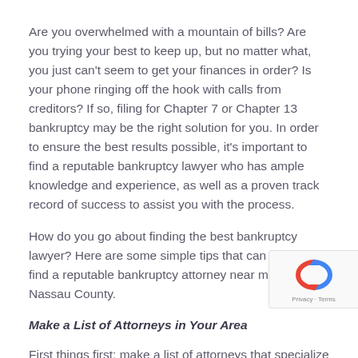Are you overwhelmed with a mountain of bills? Are you trying your best to keep up, but no matter what, you just can't seem to get your finances in order? Is your phone ringing off the hook with calls from creditors? If so, filing for Chapter 7 or Chapter 13 bankruptcy may be the right solution for you. In order to ensure the best results possible, it's important to find a reputable bankruptcy lawyer who has ample knowledge and experience, as well as a proven track record of success to assist you with the process.
How do you go about finding the best bankruptcy lawyer? Here are some simple tips that can help you find a reputable bankruptcy attorney near me in Nassau County.
Make a List of Attorneys in Your Area
First things first; make a list of attorneys that specialize in